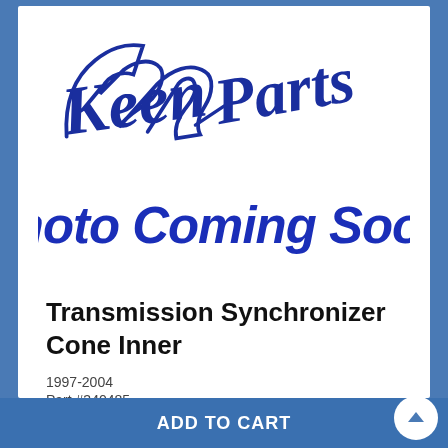[Figure (logo): Keen Parts cursive script logo in blue]
[Figure (illustration): Photo Coming Soon! text in bold blue italic script]
Transmission Synchronizer Cone Inner
1997-2004
Part #340485
$165
ADD TO CART